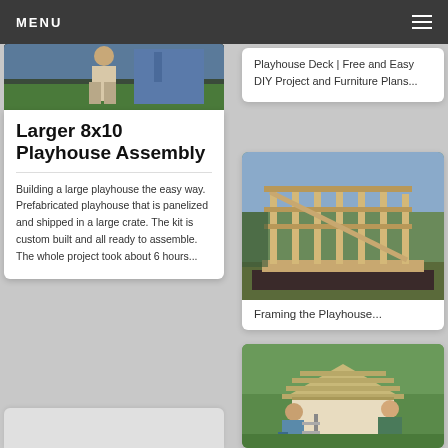MENU
[Figure (photo): Partial photo of a person near a playhouse with blue siding and green lawn]
Larger 8x10 Playhouse Assembly
Building a large playhouse the easy way. Prefabricated playhouse that is panelized and shipped in a large crate. The kit is custom built and all ready to assemble. The whole project took about 6 hours...
Playhouse Deck | Free and Easy DIY Project and Furniture Plans...
[Figure (photo): Photo of a wooden playhouse frame structure being assembled outdoors]
Framing the Playhouse...
[Figure (photo): Photo of two people working on the roof of a playhouse]